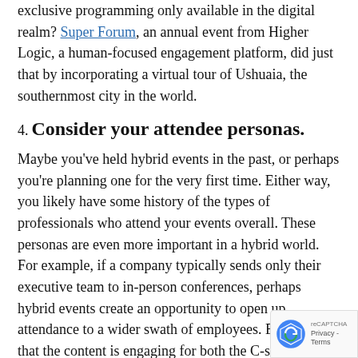exclusive programming only available in the digital realm? Super Forum, an annual event from Higher Logic, a human-focused engagement platform, did just that by incorporating a virtual tour of Ushuaia, the southernmost city in the world.
4. Consider your attendee personas.
Maybe you've held hybrid events in the past, or perhaps you're planning one for the very first time. Either way, you likely have some history of the types of professionals who attend your events overall. These personas are even more important in a hybrid world. For example, if a company typically sends only their executive team to in-person conferences, perhaps hybrid events create an opportunity to open up attendance to a wider swath of employees. Ensuring that the content is engaging for both the C-suite and middle management is paramount to ensuring a successful event.
5. Ask the right questions.
Post event follow up is as important as the actual up planning. Consider a separate survey or other feedb gathering process to glean unique insights from live and